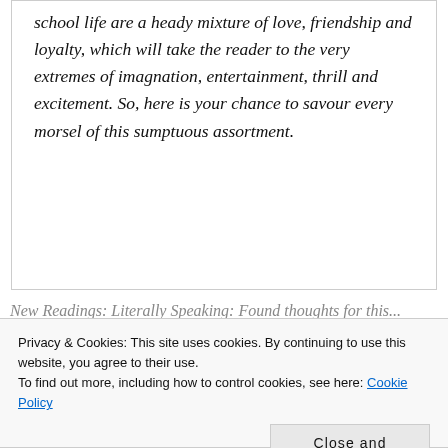school life are a heady mixture of love, friendship and loyalty, which will take the reader to the very extremes of imagnation, entertainment, thrill and excitement. So, here is your chance to savour every morsel of this sumptuous assortment.
New Readings: Literally Speaking: Found thoughts for this...
Privacy & Cookies: This site uses cookies. By continuing to use this website, you agree to their use.
To find out more, including how to control cookies, see here: Cookie Policy